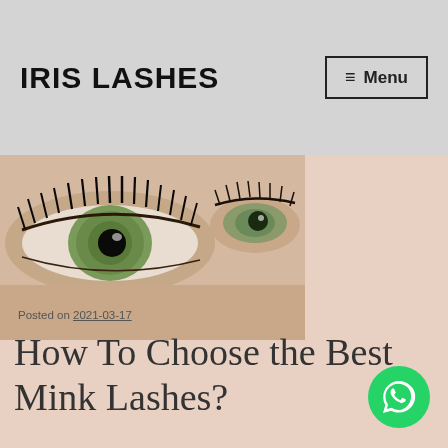IRIS LASHES
[Figure (photo): Close-up photo of a woman's eyes with long mink lashes applied]
Posted on 2021-03-17
How To Choose the Best Mink Lashes?
[Figure (illustration): Author avatar placeholder - grey silhouette of a person]
Written by
[Figure (logo): WhatsApp button - green circle with phone handset icon]